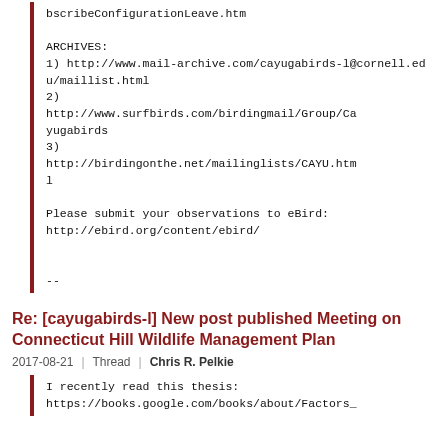bscribeConfigurationLeave.htm

ARCHIVES:
1) http://www.mail-archive.com/cayugabirds-l@cornell.edu/maillist.html
2)
http://www.surfbirds.com/birdingmail/Group/Cayugabirds
3)
http://birdingonthe.net/mailinglists/CAYU.html

Please submit your observations to eBird:
http://ebird.org/content/ebird/


--
Re: [cayugabirds-l] New post published Meeting on Connecticut Hill Wildlife Management Plan
2017-08-21 | Thread | Chris R. Pelkie
I recently read this thesis:
https://books.google.com/books/about/Factors_